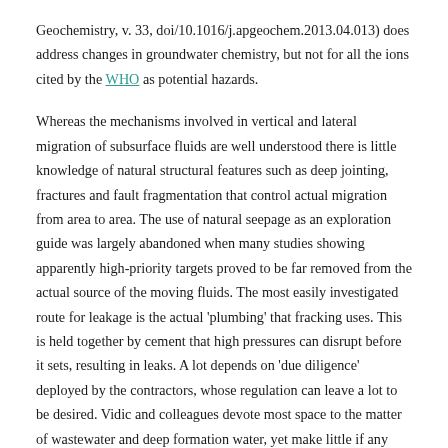Geochemistry, v. 33, doi/10.1016/j.apgeochem.2013.04.013) does address changes in groundwater chemistry, but not for all the ions cited by the WHO as potential hazards.
Whereas the mechanisms involved in vertical and lateral migration of subsurface fluids are well understood there is little knowledge of natural structural features such as deep jointing, fractures and fault fragmentation that control actual migration from area to area. The use of natural seepage as an exploration guide was largely abandoned when many studies showing apparently high-priority targets proved to be far removed from the actual source of the moving fluids. The most easily investigated route for leakage is the actual 'plumbing' that fracking uses. This is held together by cement that high pressures can disrupt before it sets, resulting in leaks. A lot depends on 'due diligence' deployed by the contractors, whose regulation can leave a lot to be desired. Vidic and colleagues devote most space to the matter of wastewater and deep formation water, yet make little if any case for routine geochemical monitoring of domestic groundwater supplies in